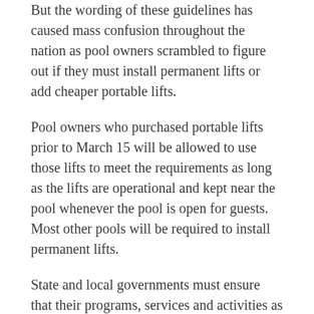But the wording of these guidelines has caused mass confusion throughout the nation as pool owners scrambled to figure out if they must install permanent lifts or add cheaper portable lifts.
Pool owners who purchased portable lifts prior to March 15 will be allowed to use those lifts to meet the requirements as long as the lifts are operational and kept near the pool whenever the pool is open for guests. Most other pools will be required to install permanent lifts.
State and local governments must ensure that their programs, services and activities as a whole are accessible.
Troubled Economic Waters
Waters believes that many pool owners would have complied with the guidelines earlier had the U.S.